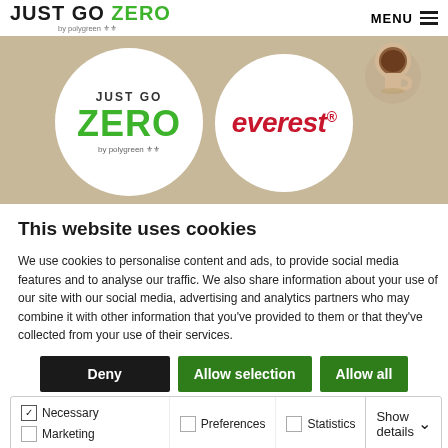JUST GO ZERO by polygreen | MENU
[Figure (illustration): Banner showing two white circles on a beige/tan background. Left circle contains 'JUST GO ZERO by polygreen' text, right circle contains 'everest' in red italic text. A coffee cup is visible in the upper right area.]
This website uses cookies
We use cookies to personalise content and ads, to provide social media features and to analyse our traffic. We also share information about your use of our site with our social media, advertising and analytics partners who may combine it with other information that you've provided to them or that they've collected from your use of their services.
Deny | Allow selection | Allow all
Necessary | Preferences | Statistics | Show details | Marketing